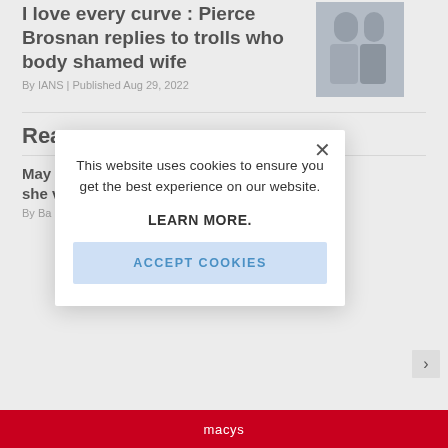I love every curve : Pierce Brosnan replies to trolls who body shamed wife
By IANS | Published Aug 29, 2022
Rea
May she w
By Ba
This website uses cookies to ensure you get the best experience on our website.

LEARN MORE.

ACCEPT COOKIES